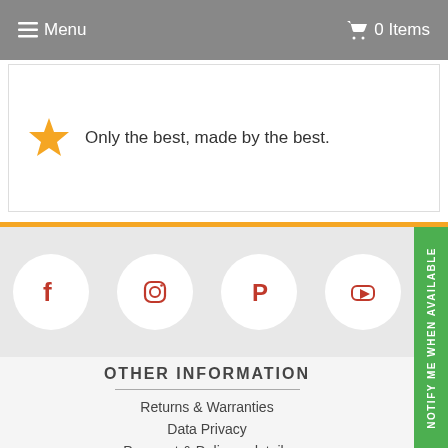☰ Menu   🛒 0 Items
Only the best, made by the best.
[Figure (infographic): Social media icons: Facebook, Instagram, Pinterest, YouTube in white circles on grey background]
OTHER INFORMATION
Returns & Warranties
Data Privacy
Payment & Delivery details
Sales outside NZ